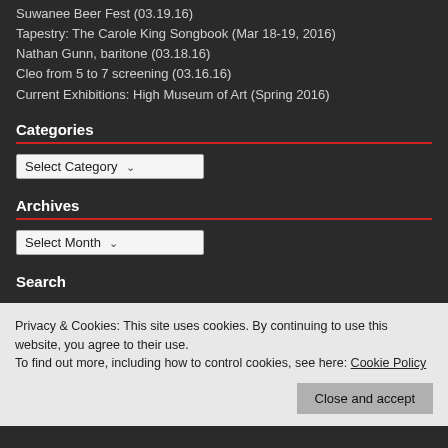Suwanee Beer Fest (03.19.16)
Tapestry: The Carole King Songbook (Mar 18-19, 2016)
Nathan Gunn, baritone (03.18.16)
Cleo from 5 to 7 screening (03.16.16)
Current Exhibitions: High Museum of Art (Spring 2016)
Categories
Archives
Search
Privacy & Cookies: This site uses cookies. By continuing to use this website, you agree to their use.
To find out more, including how to control cookies, see here: Cookie Policy
Close and accept